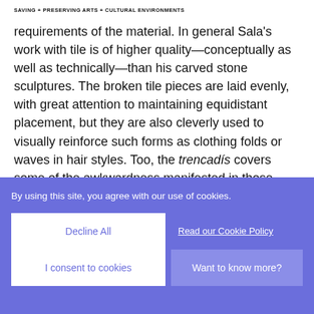SAVING + PRESERVING ARTS + CULTURAL ENVIRONMENTS
requirements of the material. In general Sala's work with tile is of higher quality—conceptually as well as technically—than his carved stone sculptures. The broken tile pieces are laid evenly, with great attention to maintaining equidistant placement, but they are also cleverly used to visually reinforce such forms as clothing folds or waves in hair styles. Too, the trencadís covers some of the awkwardness manifested in those sculptures that were carved in a subtractive manner out of stone. Now retired, he works every day to realize images he has drawn from magazines or books, and
By using this site, you agree with our use of cookies.
Decline All
Read our Cookie Policy
I consent to cookies
Want to know more?